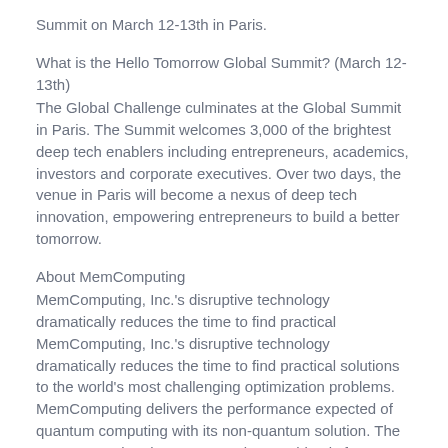Summit on March 12-13th in Paris.
What is the Hello Tomorrow Global Summit? (March 12-13th)
The Global Challenge culminates at the Global Summit in Paris. The Summit welcomes 3,000 of the brightest deep tech enablers including entrepreneurs, academics, investors and corporate executives. Over two days, the venue in Paris will become a nexus of deep tech innovation, empowering entrepreneurs to build a better tomorrow.
About MemComputing
MemComputing, Inc.'s disruptive technology dramatically reduces the time to find practical MemComputing, Inc.'s disruptive technology dramatically reduces the time to find practical solutions to the world's most challenging optimization problems. MemComputing delivers the performance expected of quantum computing with its non-quantum solution. The company's Virtual MemComputing Machine is free to evaluate. Dr. Massimiliano Di Ventra and Dr. Fabio Traversa, co-inventors of the memcomputing technology, co-founded the company with John A. Beane, a successful serial entrepreneur. Visit https://memcpu.com to learn more.